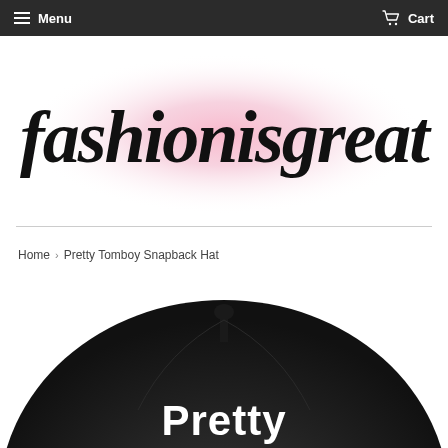Menu   Cart
[Figure (logo): fashionisgreat logo in bold handwritten font on a pink radial gradient background]
Home › Pretty Tomboy Snapback Hat
[Figure (photo): Black snapback hat with 'Pretty' written in white bold text on the front, viewed from slightly above]